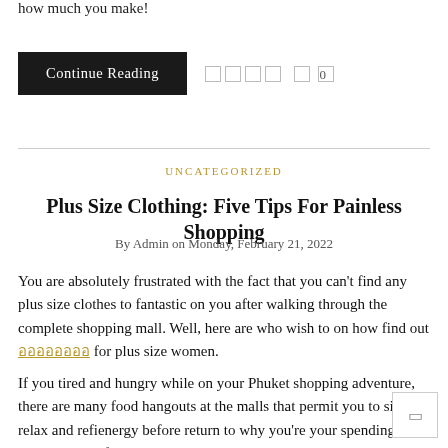how much you make!
Continue Reading    □ □ □ □  □ 0
UNCATEGORIZED
Plus Size Clothing: Five Tips For Painless Shopping
By Admin on Monday, February 21, 2022
You are absolutely frustrated with the fact that you can't find any plus size clothes to fantastic on you after walking through the complete shopping mall. Well, here are who wish to on how find out ออออออออ for plus size women.
If you tired and hungry while on your Phuket shopping adventure, there are many food hangouts at the malls that permit you to sit, relax and refi... energy before return to why you're your spending. A wide variety of